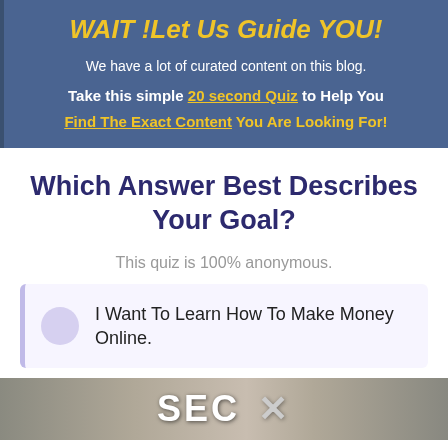WAIT !Let Us Guide YOU!
We have a lot of curated content on this blog.
Take this simple 20 second Quiz to Help You Find The Exact Content You Are Looking For!
Which Answer Best Describes Your Goal?
This quiz is 100% anonymous.
I Want To Learn How To Make Money Online.
[Figure (photo): Partial photo of a person, with SEC text visible]